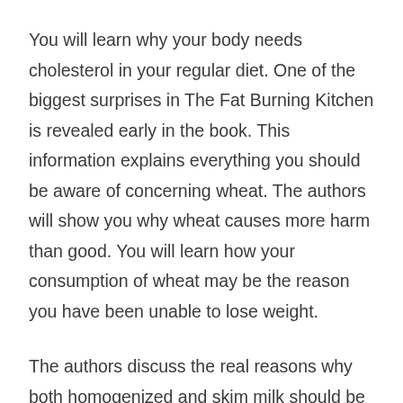You will learn why your body needs cholesterol in your regular diet. One of the biggest surprises in The Fat Burning Kitchen is revealed early in the book. This information explains everything you should be aware of concerning wheat. The authors will show you why wheat causes more harm than good. You will learn how your consumption of wheat may be the reason you have been unable to lose weight.
The authors discuss the real reasons why both homogenized and skim milk should be completely eliminated from your diet. The book reveals some extremely interesting facts about tilapia, salmon, oolong tea and green tea you may not be aware of.